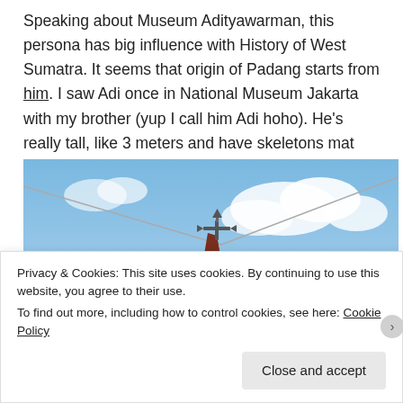Speaking about Museum Adityawarman, this persona has big influence with History of West Sumatra. It seems that origin of Padang starts from him. I saw Adi once in National Museum Jakarta with my brother (yup I call him Adi hoho). He's really tall, like 3 meters and have skeletons mat under him (how cool is that!).
[Figure (photo): Upward view of a tall building spire or steeple with a decorative cross-shaped weather vane at the top, set against a blue sky with white clouds. A cable or wire is visible in the upper portion of the image.]
Privacy & Cookies: This site uses cookies. By continuing to use this website, you agree to their use.
To find out more, including how to control cookies, see here: Cookie Policy
Close and accept